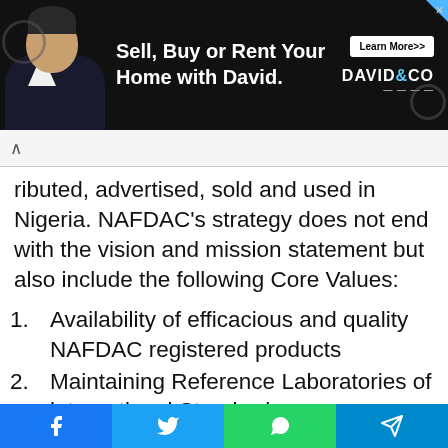[Figure (screenshot): Advertisement banner: 'Sell, Buy or Rent Your Home with David.' with a man in suit, Learn More button, and DAVID&CO logo on black background]
ributed, advertised, sold and used in Nigeria. NAFDAC's strategy does not end with the vision and mission statement but also include the following Core Values:
Availability of efficacious and quality NAFDAC registered products
Maintaining Reference Laboratories of international Standards
To promote an effective and efficient well motivated and
[Figure (screenshot): Social share bar at bottom with Facebook, Twitter, WhatsApp, and Telegram buttons]